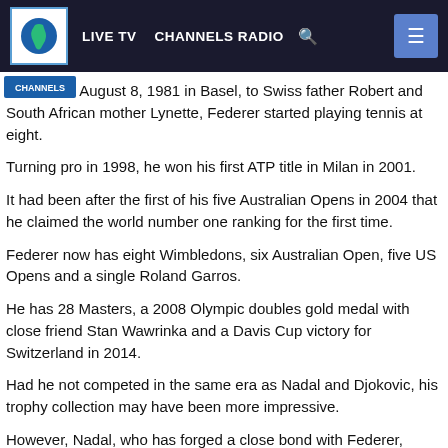LIVE TV  CHANNELS RADIO
Born on August 8, 1981 in Basel, to Swiss father Robert and South African mother Lynette, Federer started playing tennis at eight.
Turning pro in 1998, he won his first ATP title in Milan in 2001.
It had been after the first of his five Australian Opens in 2004 that he claimed the world number one ranking for the first time.
Federer now has eight Wimbledons, six Australian Open, five US Opens and a single Roland Garros.
He has 28 Masters, a 2008 Olympic doubles gold medal with close friend Stan Wawrinka and a Davis Cup victory for Switzerland in 2014.
Had he not competed in the same era as Nadal and Djokovic, his trophy collection may have been more impressive.
However, Nadal, who has forged a close bond with Federer, enjoys a 24-16 head-to-head advantage.
Against Djokovic, with whom dealings have never been as cordial, Federer trails 27-23.
They shared history in 2019 when the Serb triumphed in the longest